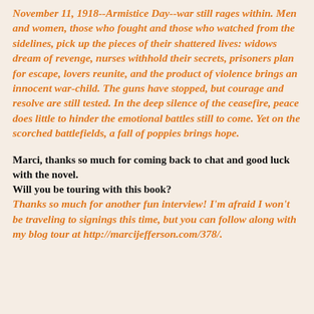November 11, 1918--Armistice Day--war still rages within. Men and women, those who fought and those who watched from the sidelines, pick up the pieces of their shattered lives: widows dream of revenge, nurses withhold their secrets, prisoners plan for escape, lovers reunite, and the product of violence brings an innocent war-child. The guns have stopped, but courage and resolve are still tested. In the deep silence of the ceasefire, peace does little to hinder the emotional battles still to come. Yet on the scorched battlefields, a fall of poppies brings hope.
Marci, thanks so much for coming back to chat and good luck with the novel.
Will you be touring with this book?
Thanks so much for another fun interview! I'm afraid I won't be traveling to signings this time, but you can follow along with my blog tour at http://marcijefferson.com/378/.